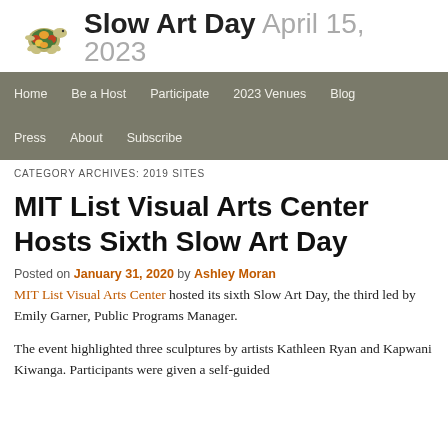Slow Art Day April 15, 2023
Home | Be a Host | Participate | 2023 Venues | Blog | Press | About | Subscribe
CATEGORY ARCHIVES: 2019 SITES
MIT List Visual Arts Center Hosts Sixth Slow Art Day
Posted on January 31, 2020 by Ashley Moran
MIT List Visual Arts Center hosted its sixth Slow Art Day, the third led by Emily Garner, Public Programs Manager.
The event highlighted three sculptures by artists Kathleen Ryan and Kapwani Kiwanga. Participants were given a self-guided